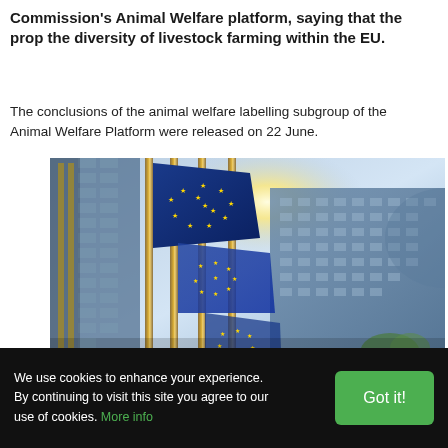Commission's Animal Welfare platform, saying that the prop the diversity of livestock farming within the EU.
The conclusions of the animal welfare labelling subgroup of the Animal Welfare Platform were released on 22 June.
[Figure (photo): EU flags flying in front of a modern glass building (European Parliament in Brussels), with sunlight shining through and a dramatic sky in the background.]
We use cookies to enhance your experience. By continuing to visit this site you agree to our use of cookies. More info